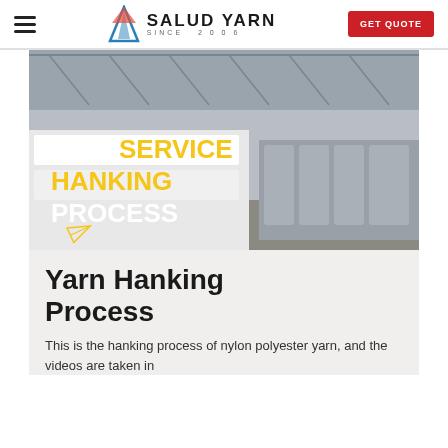SALUD YARN SINCE 2006 | GET QUOTE
[Figure (photo): Interior of a large industrial yarn/textile warehouse with machinery and stacked white yarn bales. Text overlay reads: OUR SERVICE HANKING PROCESS with a paper plane icon.]
Yarn Hanking Process
This is the hanking process of nylon polyester yarn, and the videos are taken in